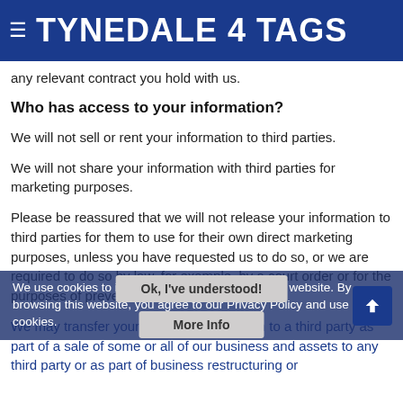TYNEDALE 4 TAGS
financial and contractual obligations and records). We will hold your information for as long as is necessary for the relevant activity, or as long as is set out in any relevant contract you hold with us.
Who has access to your information?
We will not sell or rent your information to third parties.
We will not share your information with third parties for marketing purposes.
Please be reassured that we will not release your information to third parties for them to use for their own direct marketing purposes, unless you have requested us to do so, or we are required to do so by law, for example, by a court order or for the purposes of prevention of fraud or other crime.
We may transfer your personal information to a third party as part of a sale of some or all of our business and assets to any third party or as part of any business restructuring or
We use cookies to improve your experience on our website. By browsing this website, you agree to our Privacy Policy and use of cookies.